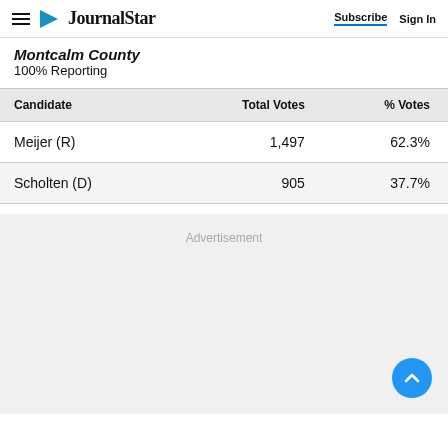Journal Star — Subscribe | Sign In
Montcalm County
100% Reporting
| Candidate | Total Votes | % Votes |
| --- | --- | --- |
| Meijer (R) | 1,497 | 62.3% |
| Scholten (D) | 905 | 37.7% |
Advertisement